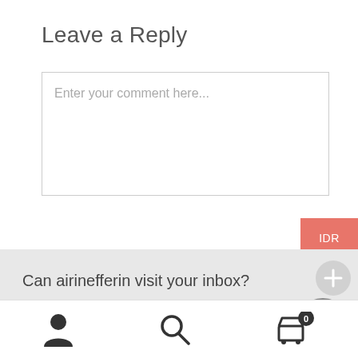Leave a Reply
Enter your comment here...
IDR
Can airinefferin visit your inbox?
[Figure (screenshot): Bottom navigation bar with user icon, search icon, and shopping cart icon with badge showing 0]